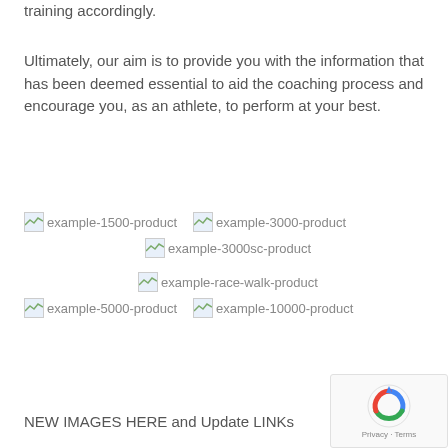training accordingly.
Ultimately, our aim is to provide you with the information that has been deemed essential to aid the coaching process and encourage you, as an athlete, to perform at your best.
[Figure (illustration): Broken image placeholders for example-1500-product, example-3000-product, example-3000sc-product, example-race-walk-product, example-5000-product, example-10000-product]
NEW IMAGES HERE and Update LINKs